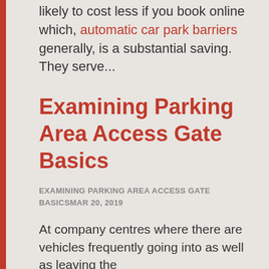likely to cost less if you book online which, automatic car park barriers generally, is a substantial saving. They serve...
Examining Parking Area Access Gate Basics
EXAMINING PARKING AREA ACCESS GATE BASICSMAR 20, 2019
At company centres where there are vehicles frequently going into as well as leaving the